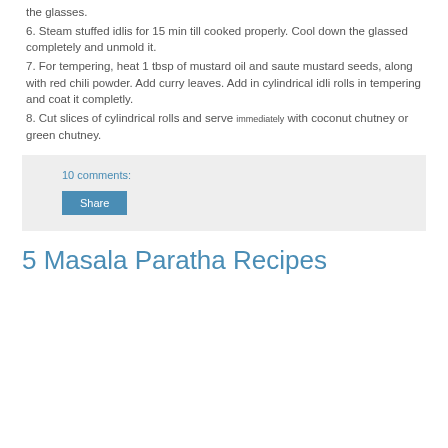the glasses.
6. Steam stuffed idlis for 15 min till cooked properly. Cool down the glassed completely and unmold it.
7. For tempering, heat 1 tbsp of mustard oil and saute mustard seeds, along with red chili powder. Add curry leaves. Add in cylindrical idli rolls in tempering and coat it completly.
8. Cut slices of cylindrical rolls and serve immediately with coconut chutney or green chutney.
10 comments:
Share
5 Masala Paratha Recipes